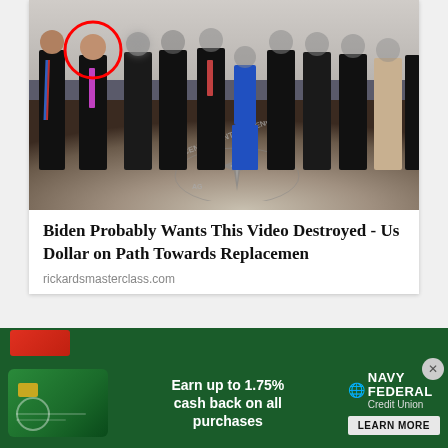[Figure (photo): Group photo of people standing in the CIA headquarters lobby with the CIA seal/emblem on the floor. One person on the left side is highlighted with a red circle around them. Most other faces are blurred out.]
Biden Probably Wants This Video Destroyed - Us Dollar on Path Towards Replacemen
rickardsmasterclass.com
[Figure (photo): Advertisement for Navy Federal Credit Union showing a green credit card with text: Earn up to 1.75% cash back on all purchases. Navy Federal Credit Union logo and LEARN MORE button.]